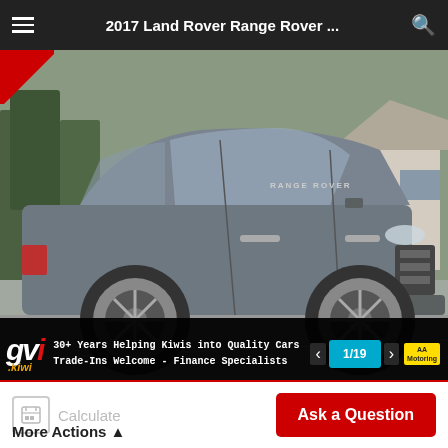2017 Land Rover Range Rover ...
[Figure (photo): 2017 Land Rover Range Rover in grey/charcoal color, parked in a lot, side profile view showing front and side. License plate visible. Trees and a house visible in background.]
30+ Years Helping Kiwis into Quality Cars
Trade-Ins Welcome - Finance Specialists
1/19
[Figure (photo): Thumbnail: close-up of vehicle controls/dashboard]
[Figure (photo): Thumbnail: interior controls and gauges]
[Figure (photo): Thumbnail: gvi.kiwi dealer advertisement]
[Figure (photo): Thumbnail: side view of Range Rover]
[Figure (photo): Thumbnail: front quarter view of Range Rover]
[Figure (photo): Thumbnail: rear quarter view of Range Rover]
Calculate
More Actions ▲
Ask a Question